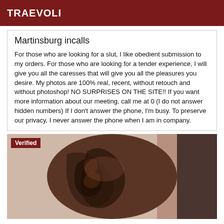TRAEVOLI
Martinsburg incalls
For those who are looking for a slut, I like obedient submission to my orders. For those who are looking for a tender experience, I will give you all the caresses that will give you all the pleasures you desire. My photos are 100% real, recent, without retouch and without photoshop! NO SURPRISES ON THE SITE!! If you want more information about our meeting, call me at 0 (I do not answer hidden numbers) If I don't answer the phone, I'm busy. To preserve our privacy, I never answer the phone when I am in company.
[Figure (photo): Verified photo showing a person with tattoos on their back/shoulder, partially visible against a light background with dark curtain on right side. A 'Verified' badge appears in the top-left corner.]